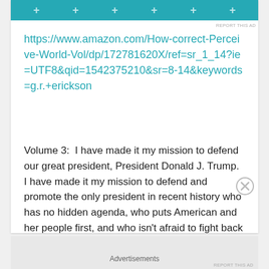[Figure (other): Teal/cyan advertisement banner with plus signs]
REPORT THIS AD
https://www.amazon.com/How-correct-Perceive-World-Vol/dp/172781620X/ref=sr_1_14?ie=UTF8&qid=1542375210&sr=8-14&keywords=g.r.+erickson
Volume 3:  I have made it my mission to defend our great president, President Donald J. Trump.  I have made it my mission to defend and promote the only president in recent history who has no hidden agenda, who puts American and her people first, and who isn't afraid to fight back against “the swamp” and the biased, liberal, fake news media!
Advertisements
REPORT THIS AD